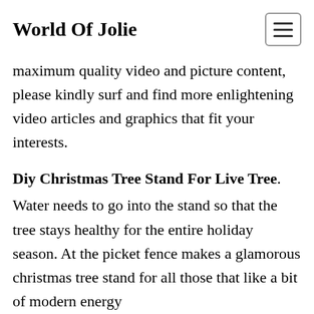World Of Jolie
maximum quality video and picture content, please kindly surf and find more enlightening video articles and graphics that fit your interests.
Diy Christmas Tree Stand For Live Tree.
Water needs to go into the stand so that the tree stays healthy for the entire holiday season. At the picket fence makes a glamorous christmas tree stand for all those that like a bit of modern energy